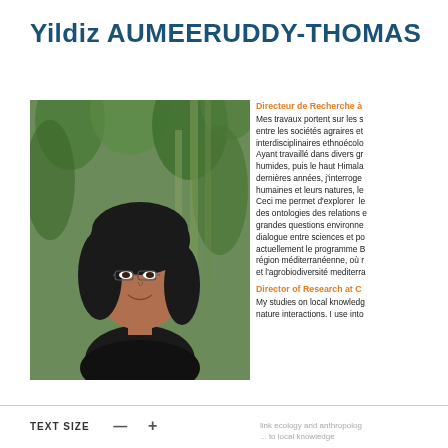Yildiz AUMEERUDDY-THOMAS
[Figure (photo): Portrait photo of Yildiz Aumeeruddy-Thomas, a woman with dark shoulder-length hair and glasses, smiling, outdoors with green foliage in the background.]
Directeur de Recherche à
Mes travaux portent sur les s entre les sociétés agraires et interdisciplinaires ethnoécolo Ayant travaillé dans divers gr humides, puis le haut Himala dernières années, j'interroge humaines et leurs natures, le Ceci me permet d'explorer le des ontologies des relations e grandes questions environne dialogue entre sciences et po actuellement le programme B région méditerranéenne, où r et l'agrobiodiversité mediterra
Director of Research at C
My studies on local knowledge nature interactions. I use into
TEXT SIZE — +
link ecology and anthropolog ... to local knowledge